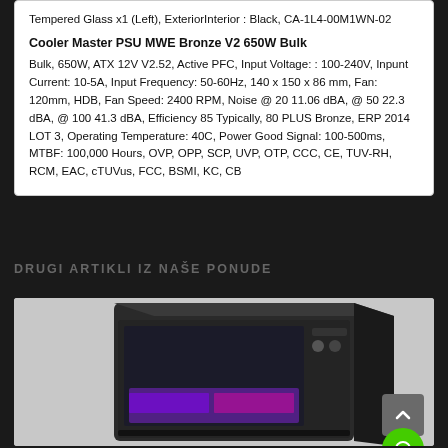Tempered Glass x1 (Left), ExteriorInterior : Black, CA-1L4-00M1WN-02
Cooler Master PSU MWE Bronze V2 650W Bulk
Bulk, 650W, ATX 12V V2.52, Active PFC, Input Voltage: : 100-240V, Inpunt Current: 10-5A, Input Frequency: 50-60Hz, 140 x 150 x 86 mm, Fan: 120mm, HDB, Fan Speed: 2400 RPM, Noise @ 20 11.06 dBA, @ 50 22.3 dBA, @ 100 41.3 dBA, Efficiency 85 Typically, 80 PLUS Bronze, ERP 2014 LOT 3, Operating Temperature: 40C, Power Good Signal: 100-500ms, MTBF: 100,000 Hours, OVP, OPP, SCP, UVP, OTP, CCC, CE, TUV-RH, RCM, EAC, cTUVus, FCC, BSMI, KC, CB
DRUGI ARTIKLI IZ NAŠE PONUDE
[Figure (photo): Photo of a black PC computer case/tower with tempered glass side panel showing RGB lighting inside, angled view]